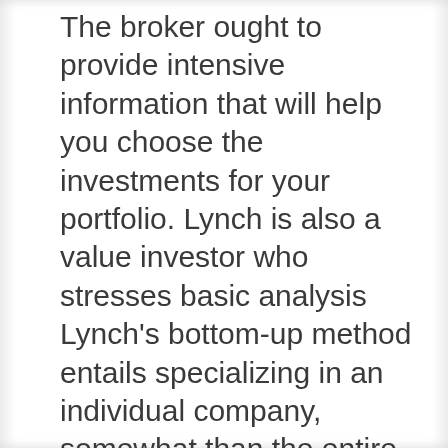The broker ought to provide intensive information that will help you choose the investments for your portfolio. Lynch is also a value investor who stresses basic analysis Lynch's bottom-up method entails specializing in an individual company, somewhat than the entire business or the market as a whole.
Growth stocks are the most risky class of stock, nevertheless, and are simply